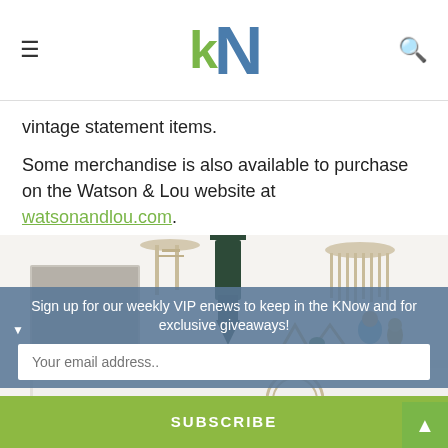kN
vintage statement items.
Some merchandise is also available to purchase on the Watson & Lou website at watsonandlou.com.
[Figure (photo): Interior of Watson & Lou shop showing wall hangings (macramé, woven textiles, dark yarn piece, fringe), decorative triangular wooden frames, small potted plant, and figurines on a white shelf unit against a white wall.]
Sign up for our weekly VIP enews to keep in the KNow and for exclusive giveaways!
Your email address..
SUBSCRIBE